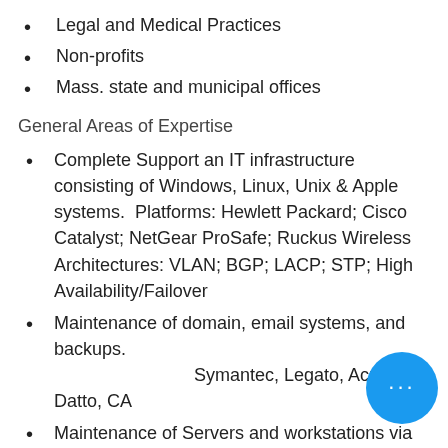Legal and Medical Practices
Non-profits
Mass. state and municipal offices
General Areas of Expertise
Complete Support an IT infrastructure consisting of Windows, Linux, Unix & Apple systems.  Platforms: Hewlett Packard; Cisco Catalyst; NetGear ProSafe; Ruckus Wireless  Architectures: VLAN; BGP; LACP; STP; High Availability/Failover
Maintenance of domain, email systems, and backups.                         Symantec, Legato, Acronis, Datto, CA
Maintenance of Servers and workstations via managed services.                              Platforms: Nagios, Centreon, Labtech/ConnectWise, Continuum NOC services